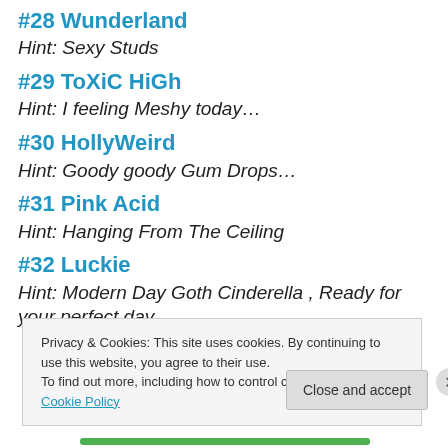#28 Wunderland
Hint: Sexy Studs
#29 ToXiC HiGh
Hint: I feeling Meshy today…
#30 HollyWeird
Hint: Goody goody Gum Drops…
#31 Pink Acid
Hint: Hanging From The Ceiling
#32 Luckie
Hint: Modern Day Goth Cinderella , Ready for your perfect day
Privacy & Cookies: This site uses cookies. By continuing to use this website, you agree to their use. To find out more, including how to control cookies, see here: Cookie Policy